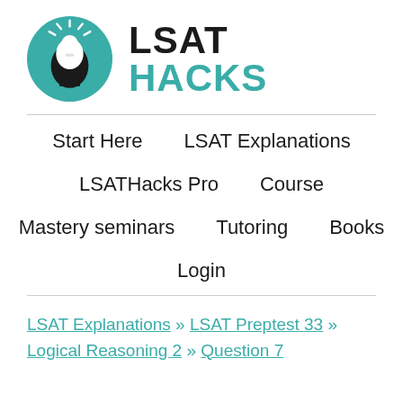[Figure (logo): LSAT Hacks logo: teal circle with silhouette of head and lightbulb, next to bold text LSAT in black and HACKS in teal]
Start Here
LSAT Explanations
LSATHacks Pro
Course
Mastery seminars
Tutoring
Books
Login
LSAT Explanations » LSAT Preptest 33 » Logical Reasoning 2 » Question 7